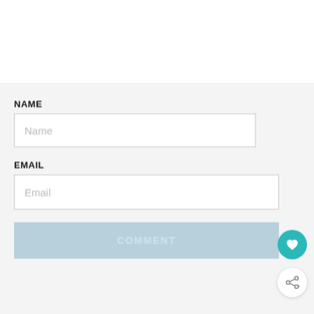[Figure (screenshot): Top white section of a web page, partially visible above a form]
NAME
Name
EMAIL
Email
COMMENT